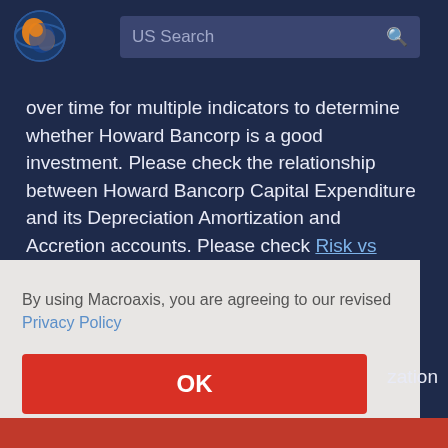[Figure (logo): Macroaxis globe logo with orange and blue colors]
US Search
over time for multiple indicators to determine whether Howard Bancorp is a good investment. Please check the relationship between Howard Bancorp Capital Expenditure and its Depreciation Amortization and Accretion accounts. Please check Risk vs Return Analysis.
By using Macroaxis, you are agreeing to our revised Privacy Policy
OK
zation